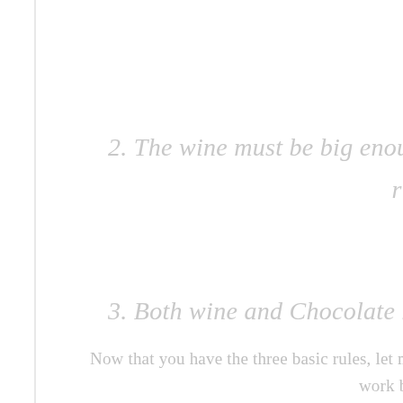2. The wine must be big enough to cu... richnes
3. Both wine and Chocolate must...
Now that you have the three basic rules, let me give... work best.